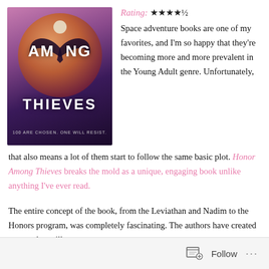[Figure (photo): Book cover of 'Among Thieves' (Honor Among Thieves) featuring a dark space-themed design with a winged creature silhouette against a large circle resembling a planet or moon, with purple and orange hues. Text reads 'AMONG THIEVES' and '100 ARE CHOSEN. ONE WILL RESIST.']
Rating: ★★★★½
Space adventure books are one of my favorites, and I'm so happy that they're becoming more and more prevalent in the Young Adult genre. Unfortunately, that also means a lot of them start to follow the same basic plot. Honor Among Thieves breaks the mold as a unique, engaging book unlike anything I've ever read.
The entire concept of the book, from the Leviathan and Nadim to the Honors program, was completely fascinating. The authors have created a story that will capture your
Follow ...